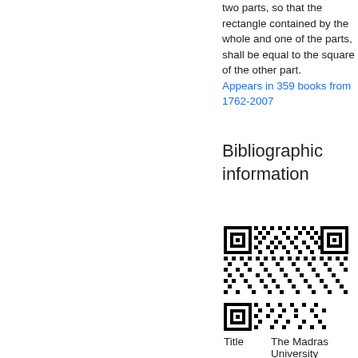two parts, so that the rectangle contained by the whole and one of the parts, shall be equal to the square of the other part.
Appears in 359 books from 1762-2007
Bibliographic information
[Figure (other): QR code linking to bibliographic information for The Madras University]
| Title | The Madras University |